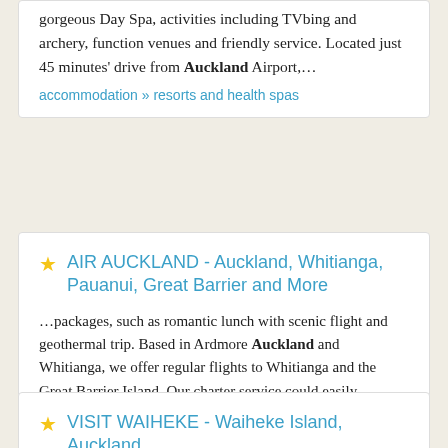gorgeous Day Spa, activities including TVbing and archery, function venues and friendly service. Located just 45 minutes' drive from Auckland Airport,…
accommodation » resorts and health spas
AIR AUCKLAND - Auckland, Whitianga, Pauanui, Great Barrier and More
…packages, such as romantic lunch with scenic flight and geothermal trip. Based in Ardmore Auckland and Whitianga, we offer regular flights to Whitianga and the Great Barrier Island. Our charter service could easily accommodate your needs. Take a scenic flight over auckland and view amazing scenery.
attractions and activities » scenic flights
VISIT WAIHEKE - Waiheke Island, Auckland